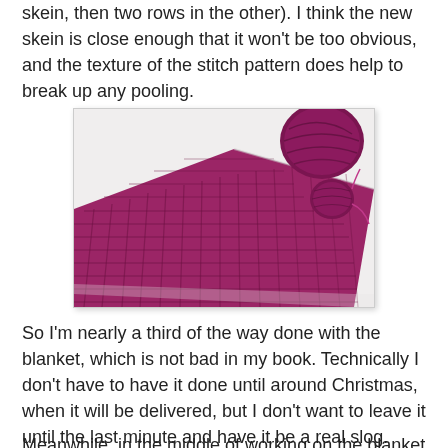skein, then two rows in the other). I think the new skein is close enough that it won't be too obvious, and the texture of the stitch pattern does help to break up any pooling.
[Figure (photo): A photo of a magenta/purple knitted blanket in progress with a waffle/basket-weave stitch pattern, with a ball of dark purple yarn in the upper right corner.]
So I'm nearly a third of the way done with the blanket, which is not bad in my book. Technically I don't have to have it done until around Christmas, when it will be delivered, but I don't want to leave it until the last minute and have it be a real slog.
Meanwhile, in the middle of working on the blanket over the weekend, I did take a bit of time to swatch for a sweater for